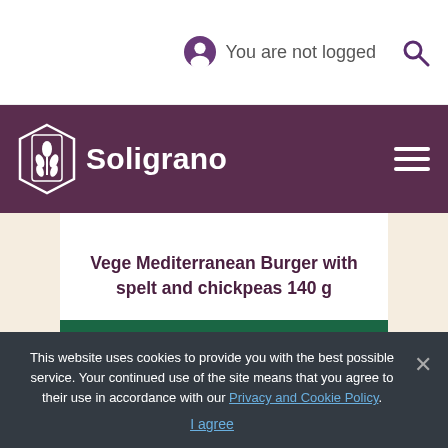You are not logged
[Figure (logo): Soligrano logo with wheat grain shield icon and text 'Soligrano' in white on dark purple navigation bar]
Vege Mediterranean Burger with spelt and chickpeas 140 g
This website uses cookies to provide you with the best possible service. Your continued use of the site means that you agree to their use in accordance with our Privacy and Cookie Policy. I agree